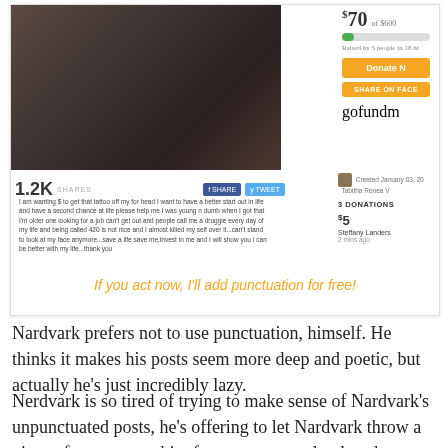[Figure (screenshot): A GoFundMe page screenshot showing a woman with a forehead tattoo asking for $600 to remove it, with $70 raised by 5 people. Includes social share buttons, a donation of $5 from Steffany Landers, and an orange italic caption: 'If you act now, I'll add punctuation for free!']
Nardvark prefers not to use punctuation, himself. He thinks it makes his posts seem more deep and poetic, but actually he's just incredibly lazy.
Nerdvark is so tired of trying to make sense of Nardvark's unpunctuated posts, he's offering to let Nardvark throw a piece of wet toast at him for every correctly placed comma he uses.